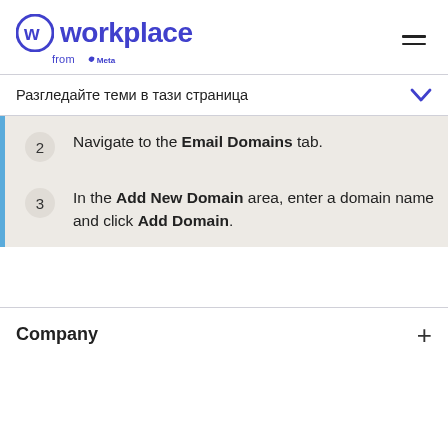workplace from Meta
Разгледайте теми в тази страница
2  Navigate to the Email Domains tab.
3  In the Add New Domain area, enter a domain name and click Add Domain.
Company